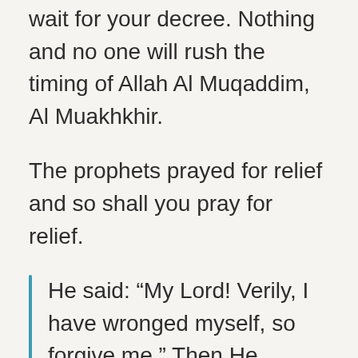wait for your decree. Nothing and no one will rush the timing of Allah Al Muqaddim, Al Muakhkhir.
The prophets prayed for relief and so shall you pray for relief.
He said: “My Lord! Verily, I have wronged myself, so forgive me.” Then He forgave him. Verily, He is the Oft-Forgiving, the Most Merciful. (28:16)